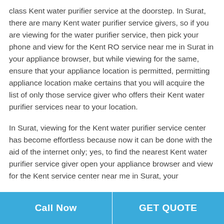class Kent water purifier service at the doorstep. In Surat, there are many Kent water purifier service givers, so if you are viewing for the water purifier service, then pick your phone and view for the Kent RO service near me in Surat in your appliance browser, but while viewing for the same, ensure that your appliance location is permitted, permitting appliance location make certains that you will acquire the list of only those service giver who offers their Kent water purifier services near to your location.
In Surat, viewing for the Kent water purifier service center has become effortless because now it can be done with the aid of the internet only; yes, to find the nearest Kent water purifier service giver open your appliance browser and view for the Kent service center near me in Surat, your
Call Now   GET QUOTE